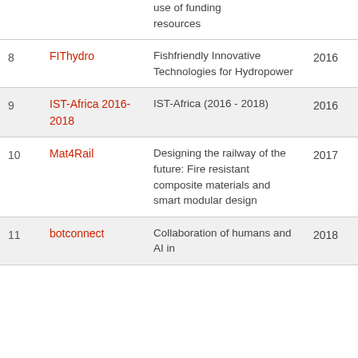| # | Project | Description | Year |
| --- | --- | --- | --- |
|  |  | use of funding resources |  |
| 8 | FIThydro | Fishfriendly Innovative Technologies for Hydropower | 2016 |
| 9 | IST-Africa 2016-2018 | IST-Africa (2016 - 2018) | 2016 |
| 10 | Mat4Rail | Designing the railway of the future: Fire resistant composite materials and smart modular design | 2017 |
| 11 | botconnect | Collaboration of humans and AI in | 2018 |